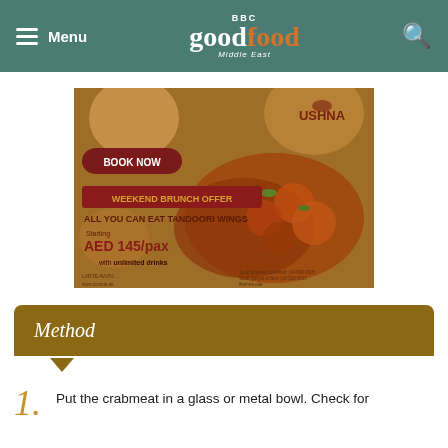Menu | BBC Good Food Middle East | Search
[Figure (photo): Ushna restaurant advertisement: Weekend Brunch Offer - All You Can Eat Tandoori Wings starting AED 145/pax with unlimited drinks. BOOK NOW button. Souk Madinat Jumeirah 04 368 6508, Souk Qaryat Al Beri 02 559 9767, #ushna.uae, www.comida.ae]
Method
Put the crabmeat in a glass or metal bowl. Check for